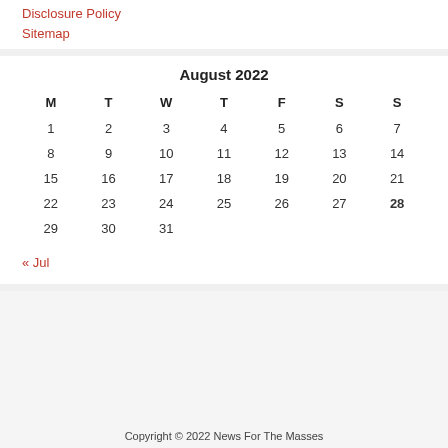Disclosure Policy
Sitemap
| M | T | W | T | F | S | S |
| --- | --- | --- | --- | --- | --- | --- |
| 1 | 2 | 3 | 4 | 5 | 6 | 7 |
| 8 | 9 | 10 | 11 | 12 | 13 | 14 |
| 15 | 16 | 17 | 18 | 19 | 20 | 21 |
| 22 | 23 | 24 | 25 | 26 | 27 | 28 |
| 29 | 30 | 31 |  |  |  |  |
« Jul
Copyright © 2022 News For The Masses